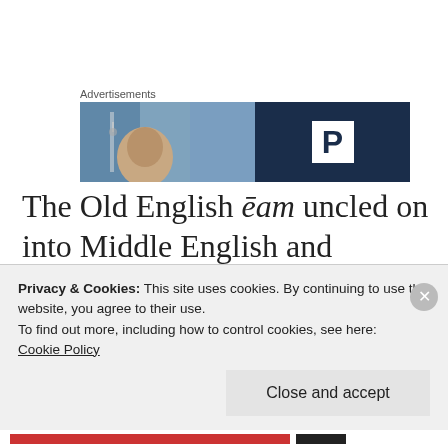Advertisements
[Figure (photo): Advertisement banner with a blurred person photo on the left and a dark navy blue panel on the right with a white box containing the letter P.]
The Old English ēam uncled on into Middle English and Scottish English as eme, among other forms, but the cooler French Norman
Privacy & Cookies: This site uses cookies. By continuing to use this website, you agree to their use.
To find out more, including how to control cookies, see here:
Cookie Policy
Close and accept